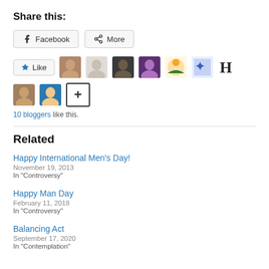Share this:
Facebook | More (share buttons)
Like button with 10 blogger avatars and a plus icon
10 bloggers like this.
Related
Happy International Men’s Day!
November 19, 2013
In “Controversy”
Happy Man Day
February 11, 2018
In “Controversy”
Balancing Act
September 17, 2020
In “Contemplation”